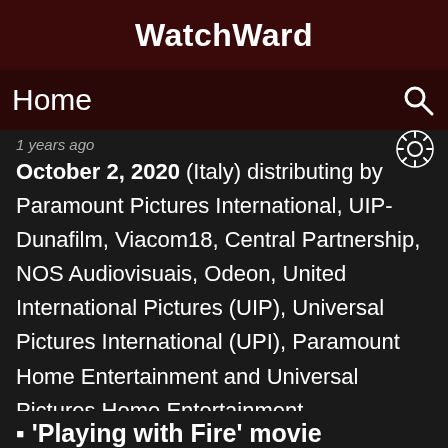WatchWard
Home
1 years ago
October 2, 2020 (Italy) distributing by Paramount Pictures International, UIP-Dunafilm, Viacom18, Central Partnership, NOS Audiovisuais, Odeon, United International Pictures (UIP), Universal Pictures International (UPI), Paramount Home Entertainment and Universal Pictures Home Entertainment.
■ 'Playing with Fire' movie